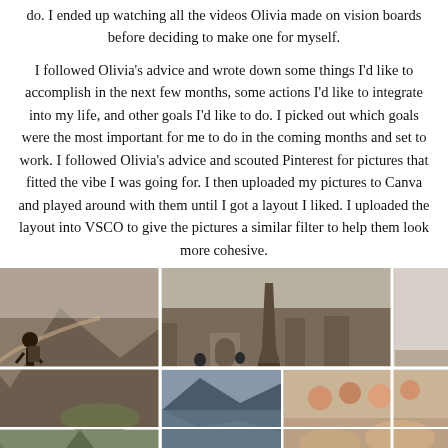do. I ended up watching all the videos Olivia made on vision boards before deciding to make one for myself.
I followed Olivia's advice and wrote down some things I'd like to accomplish in the next few months, some actions I'd like to integrate into my life, and other goals I'd like to do. I picked out which goals were the most important for me to do in the coming months and set to work. I followed Olivia's advice and scouted Pinterest for pictures that fitted the vibe I was going for. I then uploaded my pictures to Canva and played around with them until I got a layout I liked. I uploaded the layout into VSCO to give the pictures a similar filter to help them look more cohesive.
[Figure (photo): A vision board collage with multiple travel and lifestyle photos including a hiker on a mountain trail, Paris cityscape with Eiffel Tower, a person doing yoga/meditation, mountain landscapes, people socializing, and other travel-related images arranged in a grid/collage layout.]